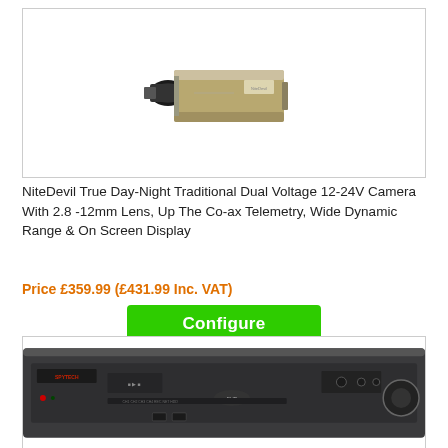[Figure (photo): NiteDevil box-style CCTV security camera with varifocal lens, silver/grey body]
NiteDevil True Day-Night Traditional Dual Voltage 12-24V Camera With 2.8 -12mm Lens, Up The Co-ax Telemetry, Wide Dynamic Range & On Screen Display
Price £359.99 (£431.99 Inc. VAT)
Configure
[Figure (photo): DVR digital video recorder unit, dark grey rack-mount unit with front panel controls and buttons]